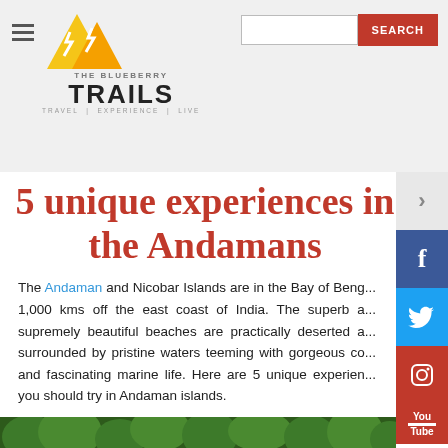[Figure (logo): The Blueberry Trails logo with yellow/orange mountain triangles and text 'THE BLUEBERRY TRAILS - TRAVEL | EXPERIENCE | LIVE']
5 unique experiences in the Andamans
The Andaman and Nicobar Islands are in the Bay of Bengal, about 1,000 kms off the east coast of India. The superb and supremely beautiful beaches are practically deserted and surrounded by pristine waters teeming with gorgeous corals and fascinating marine life. Here are 5 unique experiences you should try in Andaman islands.
[Figure (photo): Bottom strip showing green tropical foliage/trees]